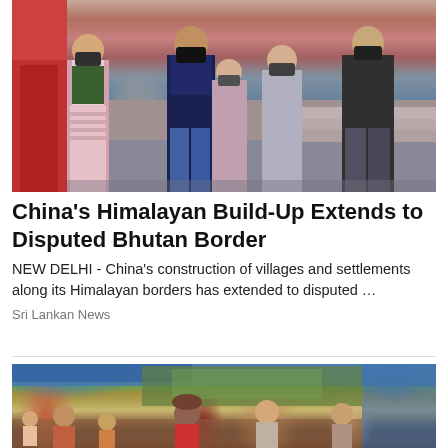[Figure (photo): People wearing face masks walking, possibly in a public area with a red wall in the background]
China's Himalayan Build-Up Extends to Disputed Bhutan Border
NEW DELHI -  China's construction of villages and settlements along its Himalayan borders has extended to disputed …
Sri Lankan News
[Figure (photo): Group of people including elderly and children sitting outdoors under a blue tarp, with green vegetation in the background]